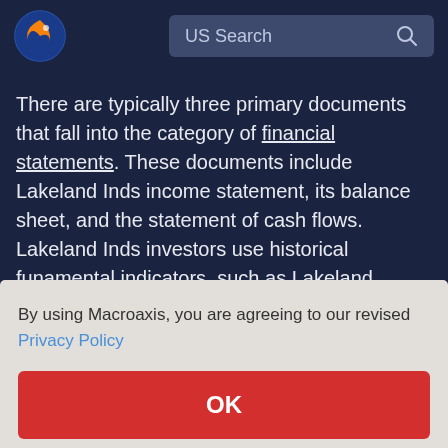US Search
There are typically three primary documents that fall into the category of financial statements. These documents include Lakeland Inds income statement, its balance sheet, and the statement of cash flows. Lakeland Inds investors use historical funamental indicators, such as Lakeland [Inds] is [Lak]d Inds [appropriate]ly, [assets] [Inds's] [gains or losses. Cash flows can provide more information regarding
By using Macroaxis, you are agreeing to our revised Privacy Policy
OK
losses. Cash flows can provide more information regarding